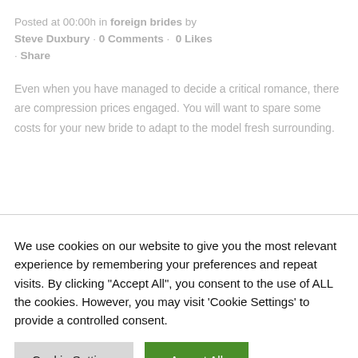Posted at 00:00h in foreign brides by Steve Duxbury · 0 Comments · 0 Likes · Share
Even when you have managed to decide a critical romance, there are compression prices engaged. You will want to spare some costs for your new bride to adapt to the model fresh surrounding.
We use cookies on our website to give you the most relevant experience by remembering your preferences and repeat visits. By clicking "Accept All", you consent to the use of ALL the cookies. However, you may visit 'Cookie Settings' to provide a controlled consent.